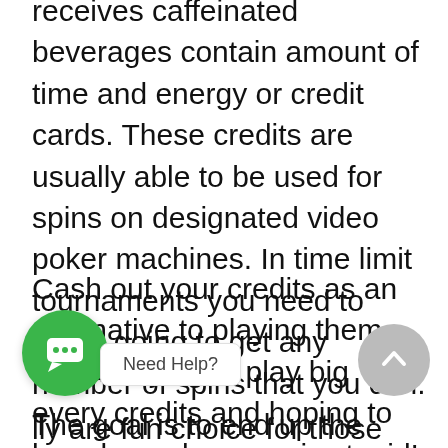receives caffeinated beverages contain amount of time and energy or credit cards. These credits are usually able to be used for spins on designated video poker machines. In time limit tournaments you need to make going to get any number of spins that you can. The goal is to end up the largest amount of winnings.
Cash out your credits as an alternative to playing them again. Trying to play big every credits and hoping to be released as won is stupid!. Cash out when you're winning and move on before that house edge kills you again.
lly are fun choice for those who don't have a lot of cash. relatively secure choice. It is an effortless game that